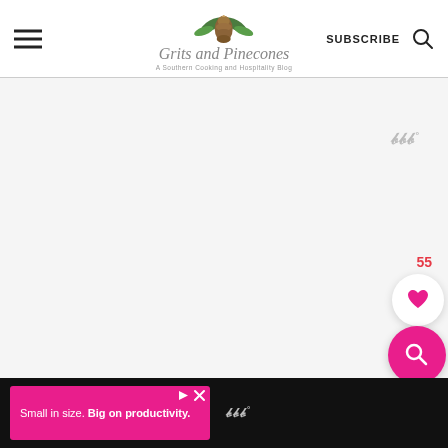Grits and Pinecones — A Southern Cooking and Hospitality Blog | SUBSCRIBE
[Figure (screenshot): Grits and Pinecones blog website screenshot with header navigation, hamburger menu, logo with pinecone illustration, SUBSCRIBE text, search icon, and blank main content area with Wunderkind watermark, heart/favorites button showing count 55, pink search button, and bottom advertisement bar reading 'Small in size. Big on productivity.']